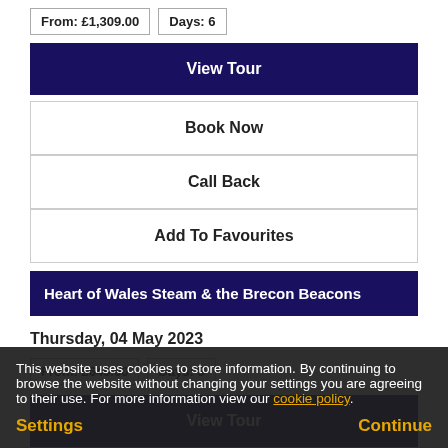From: £1,309.00 | Days: 6
View Tour
Book Now
Call Back
Add To Favourites
Heart of Wales Steam & the Brecon Beacons
Thursday, 04 May 2023
From: £645.00 | Days: 5
View Tour
Book Now
Call Back
This website uses cookies to store information. By continuing to browse the website without changing your settings you are agreeing to their use. For more information view our cookie policy.
Settings
Continue